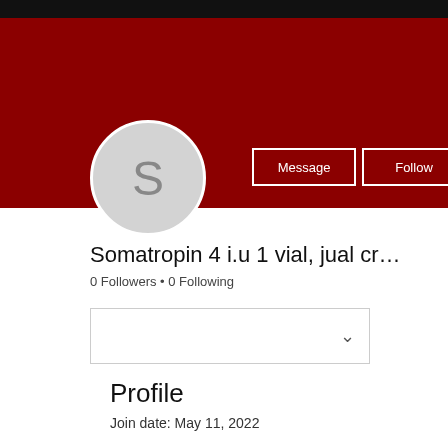[Figure (screenshot): Social media profile page screenshot. Dark red/maroon header banner with black top bar. Circular avatar with letter S. Message and Follow buttons with white borders. Three-dot menu. Username 'Somatropin 4 i.u 1 vial, jual cr...' with 0 Followers and 0 Following. A dropdown box. Profile section with Join date: May 11, 2022. About section partially visible.]
Somatropin 4 i.u 1 vial, jual cr...
0 Followers • 0 Following
Profile
Join date: May 11, 2022
About